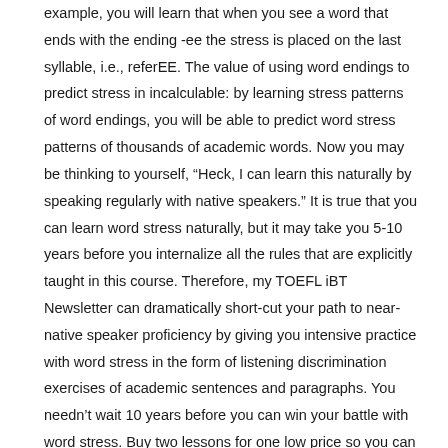example, you will learn that when you see a word that ends with the ending -ee the stress is placed on the last syllable, i.e., referEE. The value of using word endings to predict stress in incalculable: by learning stress patterns of word endings, you will be able to predict word stress patterns of thousands of academic words. Now you may be thinking to yourself, “Heck, I can learn this naturally by speaking regularly with native speakers.” It is true that you can learn word stress naturally, but it may take you 5-10 years before you internalize all the rules that are explicitly taught in this course. Therefore, my TOEFL iBT Newsletter can dramatically short-cut your path to near-native speaker proficiency by giving you intensive practice with word stress in the form of listening discrimination exercises of academic sentences and paragraphs. You needn’t wait 10 years before you can win your battle with word stress. Buy two lessons for one low price so you can begin reducing your word stress shifts immediately.